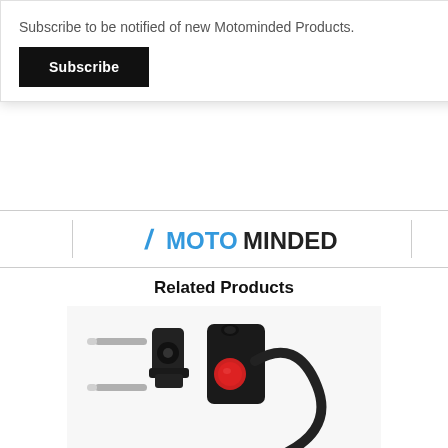Subscribe to be notified of new Motominded Products.
Subscribe
[Figure (logo): Motominded brand logo with blue slash and blue MOTO text and dark MINDED text]
Related Products
[Figure (photo): Motorcycle handlebar kill switch kit with red button, mounting clamp, screws, cable and zip ties on white background]